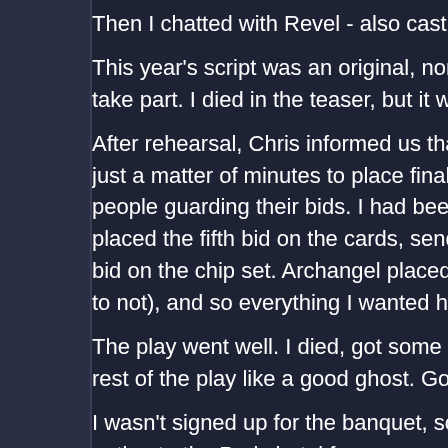Then I chatted with Revel - also cast - as we waited
This year's script was an original, non-"Gargoyles" p... take part. I died in the teaser, but it was fun all the sa...
After rehearsal, Chris informed us that the silent auc... just a matter of minutes to place final bids. I entered ... people guarding their bids. I had been one-upped on... placed the fifth bid on the cards, sending them to Mo... bid on the chip set. Archangel placed the fifth bid on ... to not), and so everything I wanted had to be had on...
The play went well. I died, got some laughs, then enj... rest of the play like a good ghost. Good times, people...
I wasn't signed up for the banquet, so I joined Paul a... outing to the Paris hotel for crapes, which were to die...
We rushed back to the hotel for the costumes/cos-pl... pretty decent ones this year, though fewer participan... Julie, Allaine, Mooncat, Summer, and Alexandria, fin... mind to go to the pool, as did I.
I ended up going to the wrong pool, however, and ge...